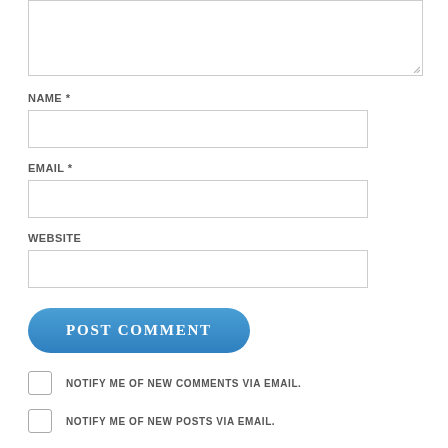[Figure (screenshot): Textarea input box (comment form field), partially visible at top of page, with resize handle at bottom-right corner]
NAME *
[Figure (screenshot): Text input field for NAME]
EMAIL *
[Figure (screenshot): Text input field for EMAIL]
WEBSITE
[Figure (screenshot): Text input field for WEBSITE]
[Figure (screenshot): Blue rounded POST COMMENT button]
NOTIFY ME OF NEW COMMENTS VIA EMAIL.
NOTIFY ME OF NEW POSTS VIA EMAIL.